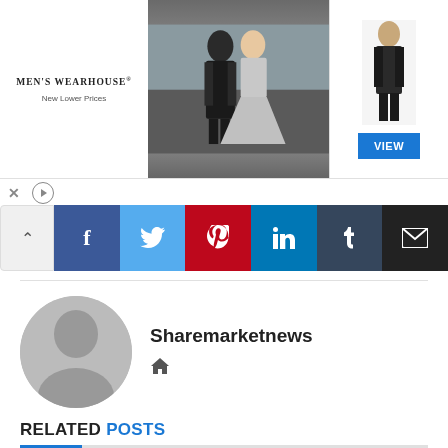[Figure (photo): Men's Wearhouse advertisement banner showing a couple in formal wear and a man in a suit, with 'New Lower Prices' tagline and a blue VIEW button]
[Figure (infographic): Social media share buttons row: up arrow, Facebook, Twitter, Pinterest, LinkedIn, Tumblr, Email]
Sharemarketnews
RELATED POSTS